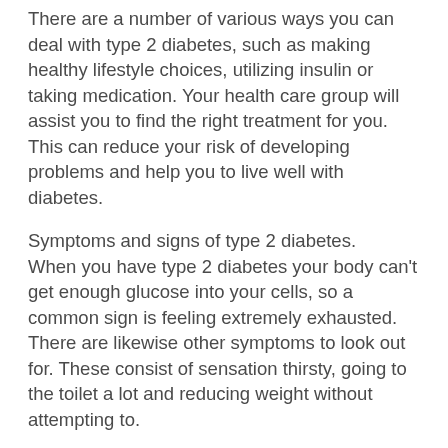There are a number of various ways you can deal with type 2 diabetes, such as making healthy lifestyle choices, utilizing insulin or taking medication. Your health care group will assist you to find the right treatment for you. This can reduce your risk of developing problems and help you to live well with diabetes.
Symptoms and signs of type 2 diabetes. When you have type 2 diabetes your body can't get enough glucose into your cells, so a common sign is feeling extremely exhausted. There are likewise other symptoms to look out for. These consist of sensation thirsty, going to the toilet a lot and reducing weight without attempting to.
The symptoms of type 2 diabetes can develop more gradually than the signs of type 1 diabetes, making the condition more difficult to identify. That's why a great deal of individuals don't get